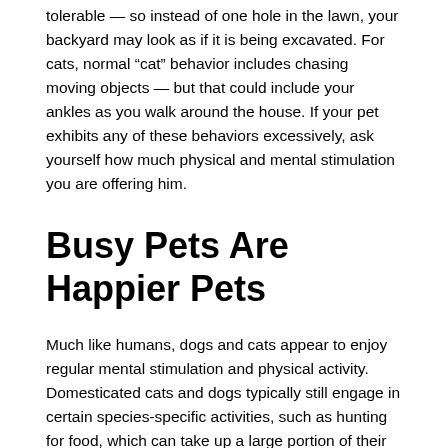tolerable — so instead of one hole in the lawn, your backyard may look as if it is being excavated. For cats, normal “cat” behavior includes chasing moving objects — but that could include your ankles as you walk around the house. If your pet exhibits any of these behaviors excessively, ask yourself how much physical and mental stimulation you are offering him.
Busy Pets Are Happier Pets
Much like humans, dogs and cats appear to enjoy regular mental stimulation and physical activity. Domesticated cats and dogs typically still engage in certain species-specific activities, such as hunting for food, which can take up a large portion of their waking hours. Even though pets have been domesticated, they still have a drive to engage in these instinctive behaviors. To help satisfy these compulsions, owners can have their pets “work” for their food. Here are a few ideas.